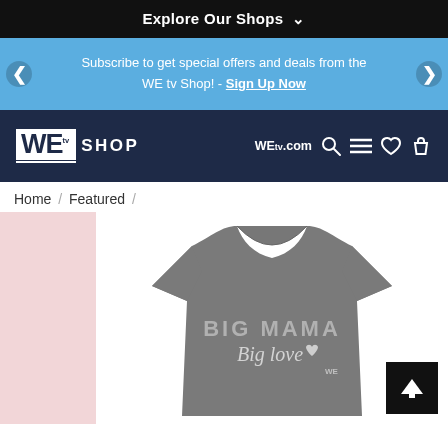Explore Our Shops ∨
Subscribe to get special offers and deals from the WE tv Shop! - Sign Up Now
[Figure (logo): WE tv SHOP logo on navy background with WEtv.com text and navigation icons]
Home / Featured /
[Figure (photo): Gray t-shirt with BIG MAMA Big love heart design printed on front, shown on pink strip background]